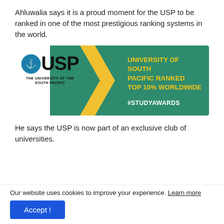Ahluwalia says it is a proud moment for the USP to be ranked in one of the most prestigious ranking systems in the world.
[Figure (logo): University of the South Pacific (USP) promotional banner showing USP logo on the left and text 'UNIVERSITY OF SOUTH PACIFIC RANKED TOP 10% WORLDWIDE' and '#STUDYAWARDS' on a green background with yellow chevron accent.]
He says the USP is now part of an exclusive club of universities.
Our website uses cookies to improve your experience. Learn more
Accept !